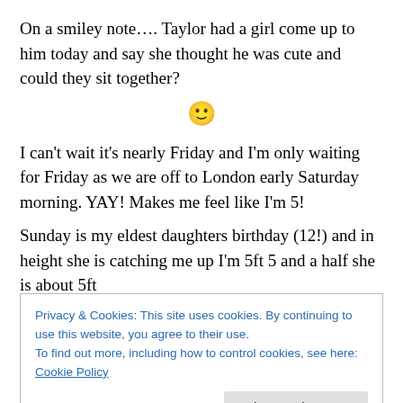On a smiley note…. Taylor had a girl come up to him today and say she thought he was cute and could they sit together?
[Figure (illustration): Smiley face emoji 🙂]
I can't wait it's nearly Friday and I'm only waiting for Friday as we are off to London early Saturday morning. YAY! Makes me feel like I'm 5!
Sunday is my eldest daughters birthday (12!) and in height she is catching me up I'm 5ft 5 and a half she is about 5ft
Privacy & Cookies: This site uses cookies. By continuing to use this website, you agree to their use.
To find out more, including how to control cookies, see here: Cookie Policy
Close and accept